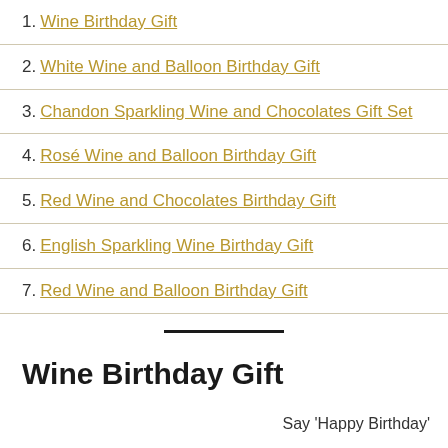1. Wine Birthday Gift
2. White Wine and Balloon Birthday Gift
3. Chandon Sparkling Wine and Chocolates Gift Set
4. Rosé Wine and Balloon Birthday Gift
5. Red Wine and Chocolates Birthday Gift
6. English Sparkling Wine Birthday Gift
7. Red Wine and Balloon Birthday Gift
Wine Birthday Gift
Say 'Happy Birthday'